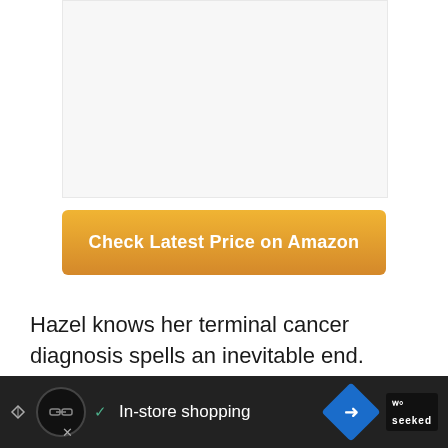[Figure (photo): Light gray placeholder image area at the top of the page]
Check Latest Price on Amazon
Hazel knows her terminal cancer diagnosis spells an inevitable end. Sure, through the wonders of modern science, she might have
[Figure (screenshot): Dark advertisement bar at the bottom with shopping icons and text 'In-store shopping']